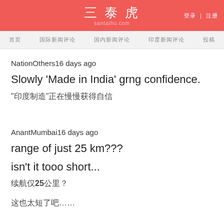三泰虎 santaihu.com | 登录 | 注册
首页 | 国际新闻评论 | 国内新闻评论 | 印度新闻评论 | 投稿
NationOthers16 days ago
Slowly 'Made in India' grng confidence.
“印度制造”正在慢慢获得信心。
AnantMumbai16 days ago
range of just 25 km???
isn't it tooo short...
续航仅25公里？
这也太短了吧…